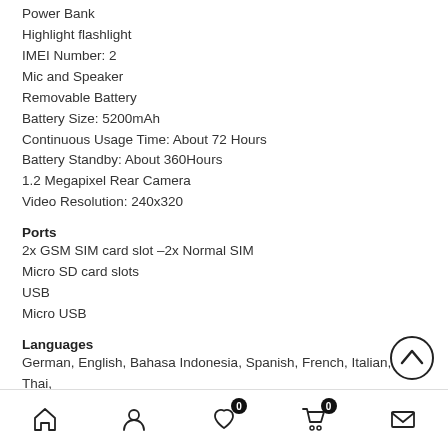Power Bank
Highlight flashlight
IMEI Number: 2
Mic and Speaker
Removable Battery
Battery Size: 5200mAh
Continuous Usage Time: About 72 Hours
Battery Standby: About 360Hours
1.2 Megapixel Rear Camera
Video Resolution: 240x320
Ports
2x GSM SIM card slot –2x Normal SIM
Micro SD card slots
USB
Micro USB
Languages
German, English, Bahasa Indonesia, Spanish, French, Italian, Thai, Portuguese, Turkish, Russian, Arabic
Media Formats
Video: AVI, 3GP
Audio: MP3
Navigation bar with home, user, favorites (0), cart (0), and mail icons